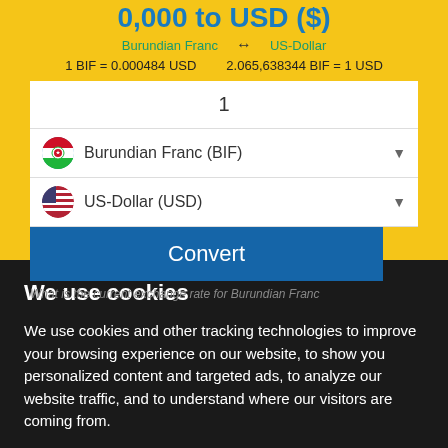0,000 to USD ($)
Burundian Franc ↔ US-Dollar
1 BIF = 0.000484 USD   2.065,638344 BIF = 1 USD
1
Burundian Franc (BIF)
US-Dollar (USD)
Convert
What is the current exchange rate for Burundian Franc
We use cookies
We use cookies and other tracking technologies to improve your browsing experience on our website, to show you personalized content and targeted ads, to analyze our website traffic, and to understand where our visitors are coming from.